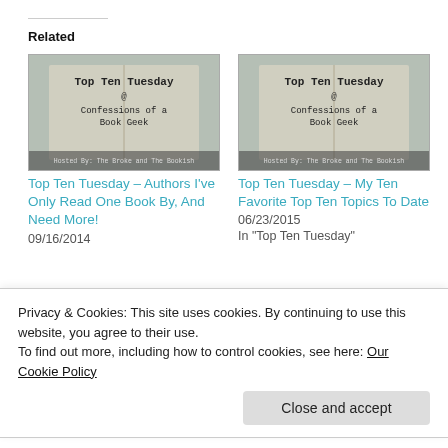Related
[Figure (illustration): Thumbnail image of Top Ten Tuesday - Confessions of a Book Geek blog post]
Top Ten Tuesday – Authors I've Only Read One Book By, And Need More!
09/16/2014
[Figure (illustration): Thumbnail image of Top Ten Tuesday - Confessions of a Book Geek blog post]
Top Ten Tuesday – My Ten Favorite Top Ten Topics To Date
06/23/2015
In "Top Ten Tuesday"
Privacy & Cookies: This site uses cookies. By continuing to use this website, you agree to their use.
To find out more, including how to control cookies, see here: Our Cookie Policy
Top Ten Tuesday –